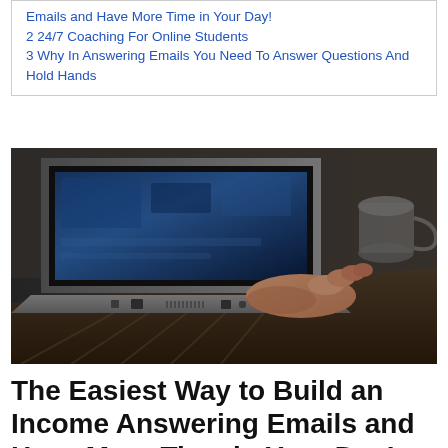Emails and Have More Time in Your Day!
2  24/7 Coaching For Online Students
3  Why In Answering Emails You Need To Answer Questions And Hold Hands
[Figure (photo): A person's hand using a laptop trackpad on a desk, with a coffee mug in the background. Low-angle close-up shot of a laptop from the side.]
The Easiest Way to Build an Income Answering Emails and Have More Time in Your Day!